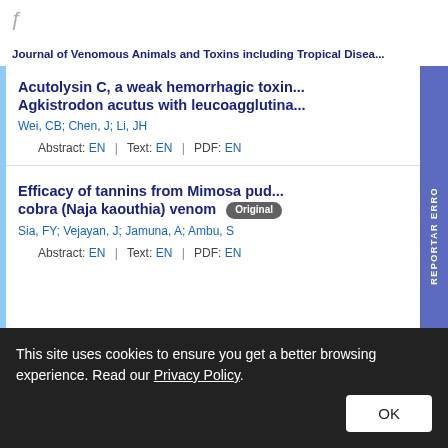Journal of Venomous Animals and Toxins including Tropical Disea...
Acutolysin C, a weak hemorrhagic toxin... Agkistrodon acutus with leucoagglutina...
Wei, CB; Chen, J; Li, JH
Abstract: EN | Text: EN | PDF: EN
Efficacy of tannins from Mimosa pud... cobra (Naja kaouthia) venom [Original]
Sia, FY; Vejayan, J; Jamuna, A; Ambu, S
Abstract: EN | Text: EN | PDF: EN
This site uses cookies to ensure you get a better browsing experience. Read our Privacy Policy.